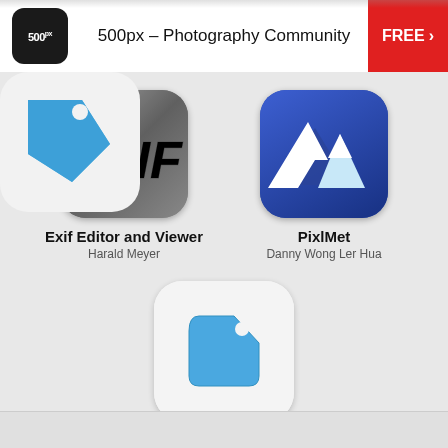500px – Photography Community  FREE >
[Figure (screenshot): App icon for Exif Editor and Viewer — dark gradient rounded square with bold italic EXIF text]
Exif Editor and Viewer
Harald Meyer
[Figure (screenshot): App icon for PixlMet — dark blue rounded square with white mountain silhouettes]
PixlMet
Danny Wong Ler Hua
[Figure (screenshot): App icon for SimplyMeta — white rounded square with blue price tag icon]
SimplyMeta
MotionObj